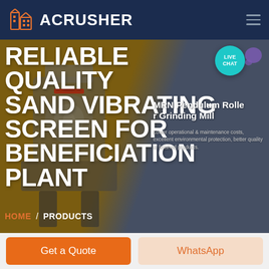ACRUSHER
[Figure (screenshot): ACRUSHER website header with logo (orange building icon) and hamburger menu on dark navy background]
RELIABLE QUALITY SAND VIBRATING SCREEN FOR BENEFICIATION PLANT
MRN Pendulum Roller Grinding Mill
Lower operational & maintenance costs, excellent environmental protection, better quality of finished products.
HOME / PRODUCTS
[Figure (photo): Industrial grinding/crushing machine on brownish-golden background]
[Figure (other): LIVE CHAT button with teal circular bubble and purple chat icon]
Get a Quote
WhatsApp